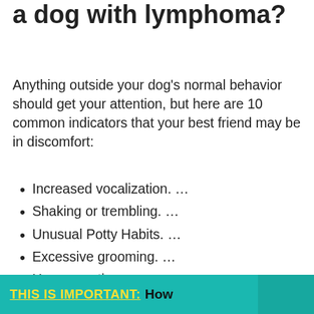a dog with lymphoma?
Anything outside your dog’s normal behavior should get your attention, but here are 10 common indicators that your best friend may be in discomfort:
Increased vocalization. …
Shaking or trembling. …
Unusual Potty Habits. …
Excessive grooming. …
Heavy panting. …
Aggression or shyness. …
Limping. …
Loss of appetite.
THIS IS IMPORTANT: How